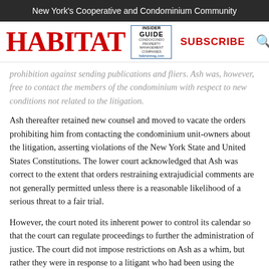New York's Cooperative and Condominium Community
[Figure (logo): Habitat magazine logo with red serif text, Insider Guide box with blue border, Subscribe button in red, and search/menu icons in red]
prohibition against sending publications and fliers. Ash was, however, free to contact the members of the condominium with respect to new conditions not related to the litigation.
Ash thereafter retained new counsel and moved to vacate the orders prohibiting him from contacting the condominium unit-owners about the litigation, asserting violations of the New York State and United States Constitutions. The lower court acknowledged that Ash was correct to the extent that orders restraining extrajudicial comments are not generally permitted unless there is a reasonable likelihood of a serious threat to a fair trial.
However, the court noted its inherent power to control its calendar so that the court can regulate proceedings to further the administration of justice. The court did not impose restrictions on Ash as a whim, but rather they were in response to a litigant who had been using the discovery process to delay proceedings and to harass the individual defendants, their families, their neighbors, and their lawyers